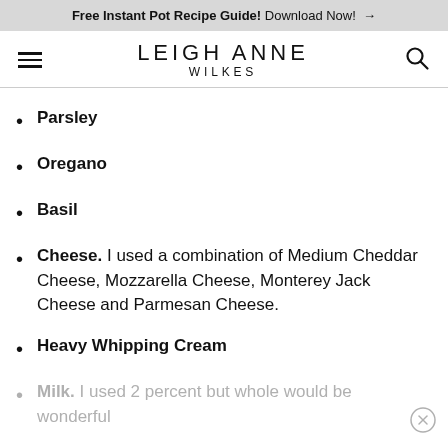Free Instant Pot Recipe Guide! Download Now! →
LEIGH ANNE WILKES
Parsley
Oregano
Basil
Cheese. I used a combination of Medium Cheddar Cheese, Mozzarella Cheese, Monterey Jack Cheese and Parmesan Cheese.
Heavy Whipping Cream
Milk. I used 2 percent but whole would be wonderful